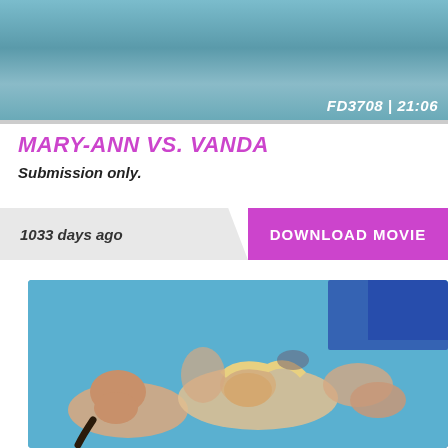[Figure (photo): Top portion of a wrestling match photo showing bodies on a mat, with overlay text FD3708 | 21:06]
MARY-ANN VS. VANDA
Submission only.
1033 days ago
DOWNLOAD MOVIE
[Figure (photo): Photo of two women wrestling on a blue mat]